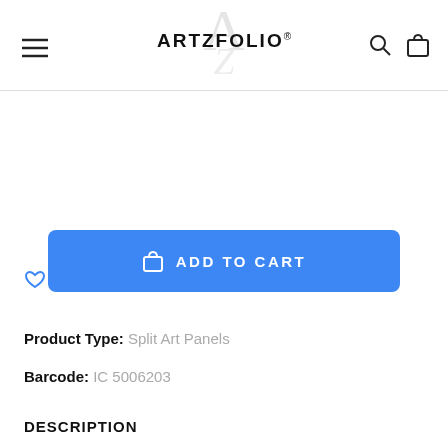ARTZFOLIO
[Figure (logo): ArtzFolio logo with stylized A/Z letters in gray behind the brand name text]
ADD TO CART
ADD TO WISHLIST
Product Type: Split Art Panels
Barcode: IC 5006203
DESCRIPTION